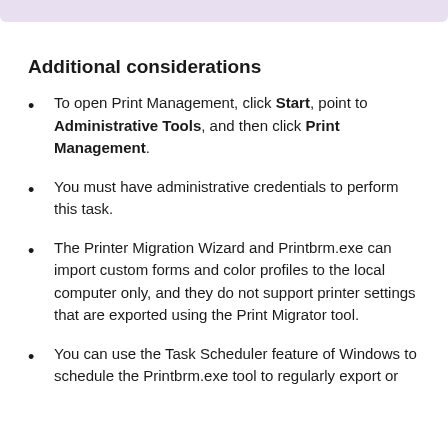Additional considerations
To open Print Management, click Start, point to Administrative Tools, and then click Print Management.
You must have administrative credentials to perform this task.
The Printer Migration Wizard and Printbrm.exe can import custom forms and color profiles to the local computer only, and they do not support printer settings that are exported using the Print Migrator tool.
You can use the Task Scheduler feature of Windows to schedule the Printbrm.exe tool to regularly export or